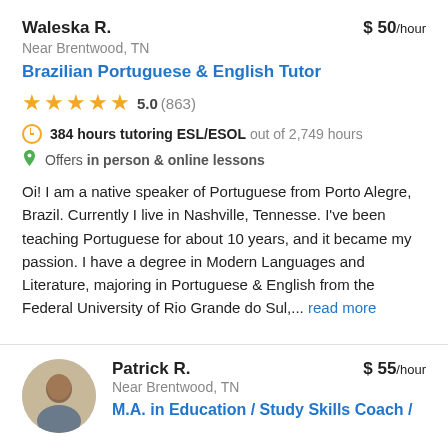Waleska R.
$50/hour
Near Brentwood, TN
Brazilian Portuguese & English Tutor
5.0 (863)
384 hours tutoring ESL/ESOL out of 2,749 hours
Offers in person & online lessons
Oi! I am a native speaker of Portuguese from Porto Alegre, Brazil. Currently I live in Nashville, Tennesse. I've been teaching Portuguese for about 10 years, and it became my passion. I have a degree in Modern Languages and Literature, majoring in Portuguese & English from the Federal University of Rio Grande do Sul,... read more
Patrick R.
$55/hour
Near Brentwood, TN
M.A. in Education / Study Skills Coach /